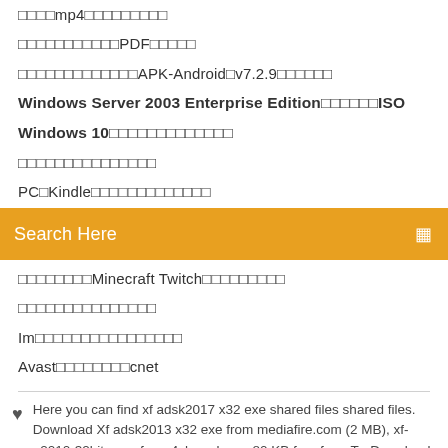□□□□mp4□□□□□□□□□
□□□□□□□□□□□PDF□□□□□
□□□□□□□□□□□□□APK-Android□v7.2.9□□□□□□
Windows Server 2003 Enterprise Edition□□□□□□ISO
Windows 10□□□□□□□□□□□□□
□□□□□□□□□□□□□□□
PC□Kindle□□□□□□□□□□□□□
[Figure (screenshot): Orange search bar with text 'Search Here' and a search icon on the right]
□□□□□□□□Minecraft Twitch□□□□□□□□□
□□□□□□□□□□□□□□□
Im□□□□□□□□□□□□□□□□
Avast□□□□□□□□cnet
Here you can find xf adsk2017 x32 exe shared files shared files. Download Xf adsk2013 x32 exe from mediafire.com (2 MB), xf-a2010-32bits.exe from 4shared.com 80 KB free from TraDownload.